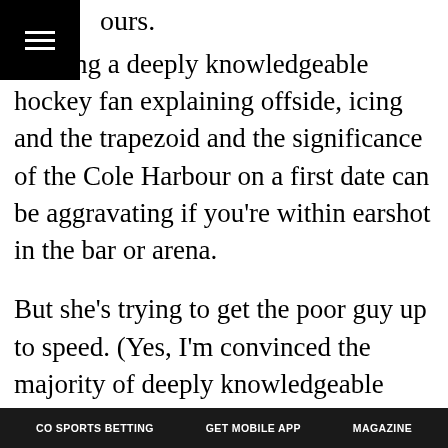ours.
Hearing a deeply knowledgeable hockey fan explaining offside, icing and the trapezoid and the significance of the Cole Harbour on a first date can be aggravating if you're within earshot in the bar or arena.
But she's trying to get the poor guy up to speed. (Yes, I'm convinced the majority of deeply knowledgeable hockey fans are women.)
In no other sport do you encounter this kind of snobbery. It doesn't happen in football, basketball and baseball, where it's accepted that knowledge of the sports themselves can and will run the gamut from encyclopedic to minimal. For hockey's proponents, it's a bit defensive. It's a reaction to a perceived lack of “respect” – there's that word, sorry – from the media and
CO SPORTS BETTING   GET MOBILE APP   MAGAZINE